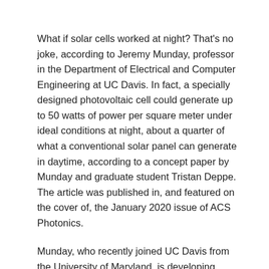What if solar cells worked at night? That's no joke, according to Jeremy Munday, professor in the Department of Electrical and Computer Engineering at UC Davis. In fact, a specially designed photovoltaic cell could generate up to 50 watts of power per square meter under ideal conditions at night, about a quarter of what a conventional solar panel can generate in daytime, according to a concept paper by Munday and graduate student Tristan Deppe. The article was published in, and featured on the cover of, the January 2020 issue of ACS Photonics.
Munday, who recently joined UC Davis from the University of Maryland, is developing prototypes of these nighttime solar cells that can generate small amounts of power. The researchers hope to improve the power output and efficiency of the devices.
Munday said that the process is similar to the way a normal solar cell works, but in reverse. An object that is hot compared to its